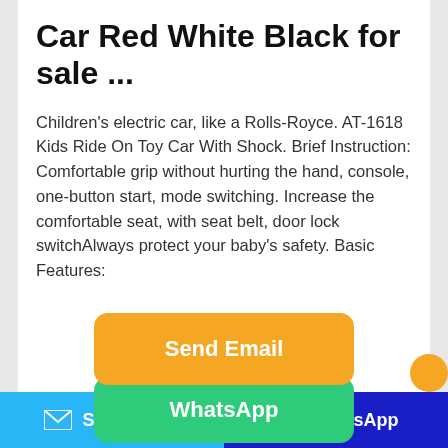Car Red White Black for sale ...
Children's electric car, like a Rolls-Royce. AT-1618 Kids Ride On Toy Car With Shock. Brief Instruction: Comfortable grip without hurting the hand, console, one-button start, mode switching. Increase the comfortable seat, with seat belt, door lock switchAlways protect your baby's safety. Basic Features:
[Figure (other): Orange 'Send Email' button]
[Figure (other): Green 'WhatsApp' button partially visible]
Send Email  |  WhatsApp